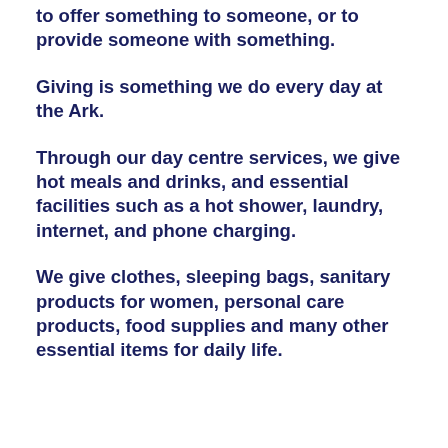to offer something to someone, or to provide someone with something.
Giving is something we do every day at the Ark.
Through our day centre services, we give hot meals and drinks, and essential facilities such as a hot shower, laundry, internet, and phone charging.
We give clothes, sleeping bags, sanitary products for women, personal care products, food supplies and many other essential items for daily life.